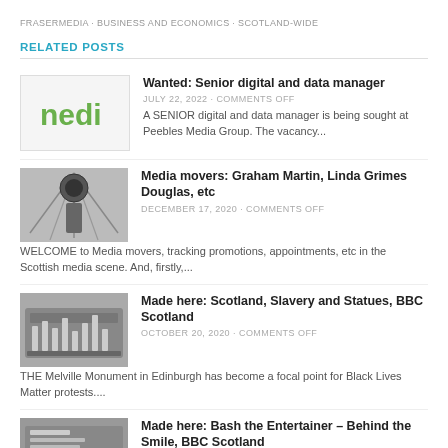FRASERMEDIA · BUSINESS AND ECONOMICS · SCOTLAND-WIDE
RELATED POSTS
Wanted: Senior digital and data manager
JULY 22, 2022 · COMMENTS OFF
A SENIOR digital and data manager is being sought at Peebles Media Group. The vacancy...
Media movers: Graham Martin, Linda Grimes Douglas, etc
DECEMBER 17, 2020 · COMMENTS OFF
WELCOME to Media movers, tracking promotions, appointments, etc in the Scottish media scene. And, firstly,...
Made here: Scotland, Slavery and Statues, BBC Scotland
OCTOBER 20, 2020 · COMMENTS OFF
THE Melville Monument in Edinburgh has become a focal point for Black Lives Matter protests....
Made here: Bash the Entertainer – Behind the Smile, BBC Scotland